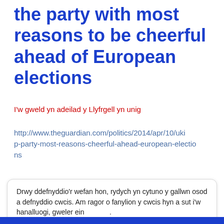the party with most reasons to be cheerful ahead of European elections
I'w gweld yn adeilad y Llyfrgell yn unig
http://www.theguardian.com/politics/2014/apr/10/ukip-party-most-reasons-cheerful-ahead-european-elections
Drwy ddefnyddio'r wefan hon, rydych yn cytuno y gallwn osod a defnyddio cwcis. Am ragor o fanylion y cwcis hyn a sut i'w hanalluogi, gweler ein .
Iawn